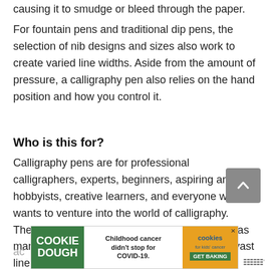causing it to smudge or bleed through the paper.
For fountain pens and traditional dip pens, the selection of nib designs and sizes also work to create varied line widths. Aside from the amount of pressure, a calligraphy pen also relies on the hand position and how you control it.
Who is this for?
Calligraphy pens are for professional calligraphers, experts, beginners, aspiring artists, hobbyists, creative learners, and everyone who wants to venture into the world of calligraphy. These pens aren't limited to a bracket of users as many reputable and popular brands provide a vast lineup of calligraphy pens that are ac...
[Figure (other): Advertisement banner for Cookie Dough brand. Left section: green background with 'COOKIE DOUGH' text. Middle section: white background with 'Childhood cancer didn't stop for COVID-19.' Middle-right: orange background with cookies for kids' cancer logo and 'GET BAKING' button. Close X button top right. Wirecutter logo bottom right.]